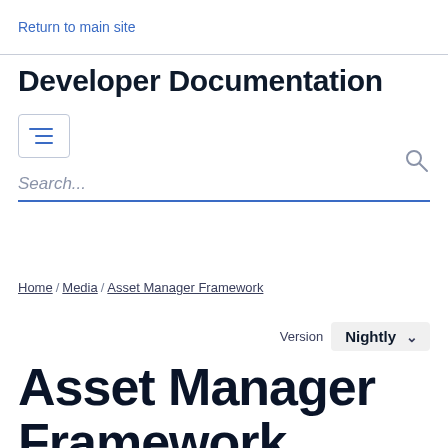Return to main site
Developer Documentation
Search...
Home / Media / Asset Manager Framework
Version  Nightly
Asset Manager Framework